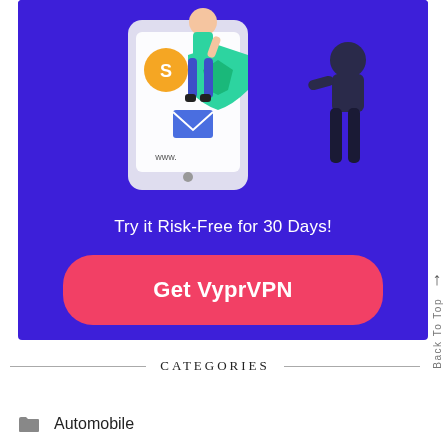[Figure (illustration): VyprVPN promotional banner with dark blue/purple background showing illustrated characters holding a smartphone with app icons, and a shield. Contains 'Try it Risk-Free for 30 Days!' text and a red 'Get VyprVPN' call-to-action button.]
CATEGORIES
Automobile